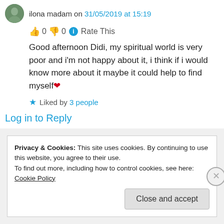ilona madam on 31/05/2019 at 15:19
👍 0 👎 0 ℹ Rate This
Good afternoon Didi, my spiritual world is very poor and i'm not happy about it, i think if i would know more about it maybe it could help to find myself❤
★ Liked by 3 people
Log in to Reply
Privacy & Cookies: This site uses cookies. By continuing to use this website, you agree to their use.
To find out more, including how to control cookies, see here: Cookie Policy
Close and accept